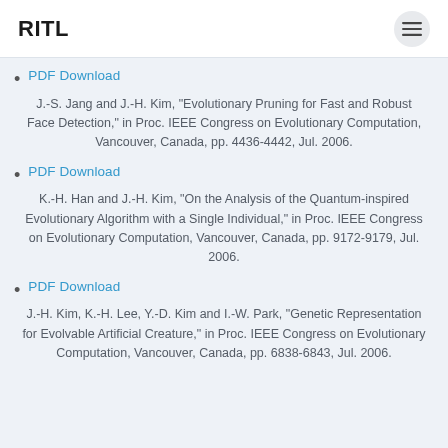RITL
PDF Download
J.-S. Jang and J.-H. Kim, "Evolutionary Pruning for Fast and Robust Face Detection," in Proc. IEEE Congress on Evolutionary Computation, Vancouver, Canada, pp. 4436-4442, Jul. 2006.
PDF Download
K.-H. Han and J.-H. Kim, "On the Analysis of the Quantum-inspired Evolutionary Algorithm with a Single Individual," in Proc. IEEE Congress on Evolutionary Computation, Vancouver, Canada, pp. 9172-9179, Jul. 2006.
PDF Download
J.-H. Kim, K.-H. Lee, Y.-D. Kim and I.-W. Park, "Genetic Representation for Evolvable Artificial Creature," in Proc. IEEE Congress on Evolutionary Computation, Vancouver, Canada, pp. 6838-6843, Jul. 2006.